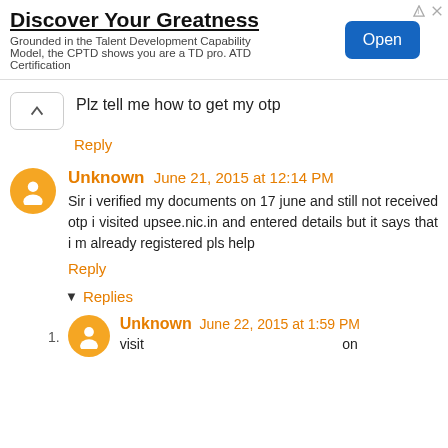[Figure (screenshot): Advertisement banner: 'Discover Your Greatness' with tagline about CPTD/ATD Certification and an 'Open' button]
Plz tell me how to get my otp
Reply
Unknown June 21, 2015 at 12:14 PM
Sir i verified my documents on 17 june and still not received otp i visited upsee.nic.in and entered details but it says that i m already registered pls help
Reply
Replies
1. Unknown June 22, 2015 at 1:59 PM
visit on